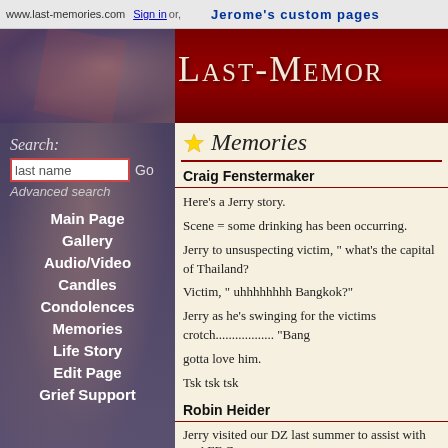www.last-memories.com  Sign in or,   Jerome's custom pages
[Figure (screenshot): Last-Memories website header banner with decorative patriotic/memorial background, red gradient with star pattern on left, logo text 'Last-Memories' on right in serif small-caps font]
Memories
Search: [last name input] Go Advanced search
Main Page
Gallery
Audio/Video
Candles
Condolences
Memories
Life Story
Edit Page
Grief Support
Craig Fenstermaker
Here's a Jerry story.

Scene = some drinking has been occurring.

Jerry to unsuspecting victim, " what's the capital of Thailand?

Victim, " uhhhhhhhh Bangkok?"

Jerry as he's swinging for the victims crotch.................. "Bang

gotta love him.

Tsk tsk tsk
Robin Heider
Jerry visited our DZ last summer to assist with an AFF C